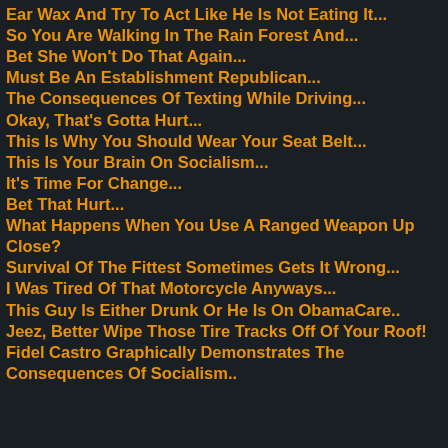Ear Wax And Try To Act Like He Is Not Eating It...
So You Are Walking In The Rain Forest And...
Bet She Won't Do That Again...
Must Be An Establishment Republican...
The Consequences Of Texting While Driving...
Okay, That's Gotta Hurt...
This Is Why You Should Wear Your Seat Belt...
This Is Your Brain On Socialism...
It's Time For Change...
Bet That Hurt...
What Happens When You Use A Ranged Weapon Up Close?
Survival Of The Fittest Sometimes Gets It Wrong...
I Was Tired Of That Motorcycle Anyways...
This Guy Is Either Drunk Or He Is On ObamaCare..
Jeez, Better Wipe Those Tire Tracks Off Of Your Roof!
Fidel Castro Graphically Demonstrates The Consequences Of Socialism..